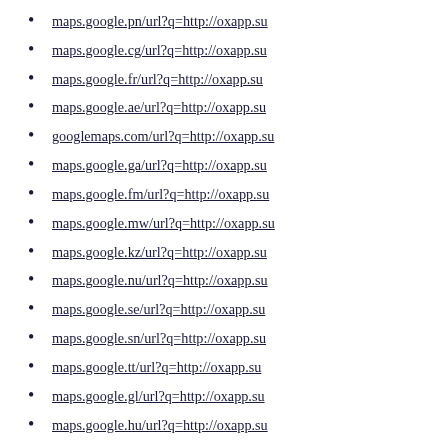maps.google.pn/url?q=http://oxapp.su
maps.google.cg/url?q=http://oxapp.su
maps.google.fr/url?q=http://oxapp.su
maps.google.ae/url?q=http://oxapp.su
googlemaps.com/url?q=http://oxapp.su
maps.google.ga/url?q=http://oxapp.su
maps.google.fm/url?q=http://oxapp.su
maps.google.mw/url?q=http://oxapp.su
maps.google.kz/url?q=http://oxapp.su
maps.google.nu/url?q=http://oxapp.su
maps.google.se/url?q=http://oxapp.su
maps.google.sn/url?q=http://oxapp.su
maps.google.tt/url?q=http://oxapp.su
maps.google.gl/url?q=http://oxapp.su
maps.google.hu/url?q=http://oxapp.su
maps.google.cz/url?q=http://oxapp.su
maps.google.cv/url?q=http://oxapp.su
maps.google.mv/url?q=http://oxapp.su
maps.google.fi/url?q=http://oxapp.su